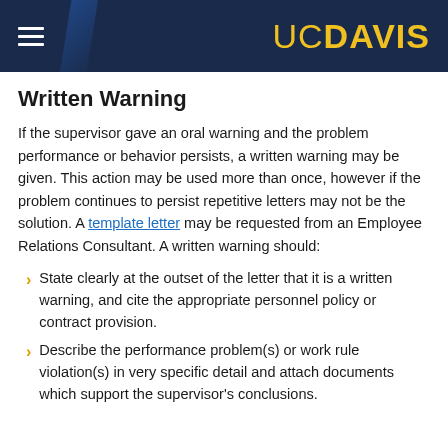UC DAVIS
Written Warning
If the supervisor gave an oral warning and the problem performance or behavior persists, a written warning may be given. This action may be used more than once, however if the problem continues to persist repetitive letters may not be the solution. A template letter may be requested from an Employee Relations Consultant. A written warning should:
State clearly at the outset of the letter that it is a written warning, and cite the appropriate personnel policy or contract provision.
Describe the performance problem(s) or work rule violation(s) in very specific detail and attach documents which support the supervisor's conclusions.